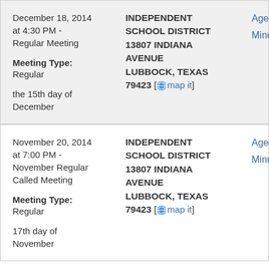| Date/Meeting | Location | Links |
| --- | --- | --- |
| December 18, 2014 at 4:30 PM - Regular Meeting
Meeting Type: Regular
the 15th day of December | INDEPENDENT SCHOOL DISTRICT 13807 INDIANA AVENUE LUBBOCK, TEXAS 79423 [map it] | Agenda
Minutes |
| November 20, 2014 at 7:00 PM - November Regular Called Meeting
Meeting Type: Regular
17th day of November | INDEPENDENT SCHOOL DISTRICT 13807 INDIANA AVENUE LUBBOCK, TEXAS 79423 [map it] | Agenda
Minutes |